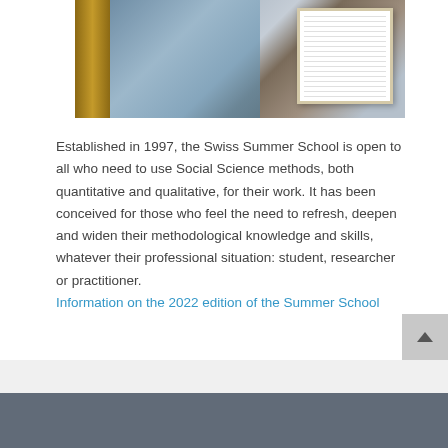[Figure (photo): Photo of a building entrance with a wooden door frame, glass, and a framed notice board/document posted on the right side of the door]
Established in 1997, the Swiss Summer School is open to all who need to use Social Science methods, both quantitative and qualitative, for their work. It has been conceived for those who feel the need to refresh, deepen and widen their methodological knowledge and skills, whatever their professional situation: student, researcher or practitioner. Information on the 2022 edition of the Summer School